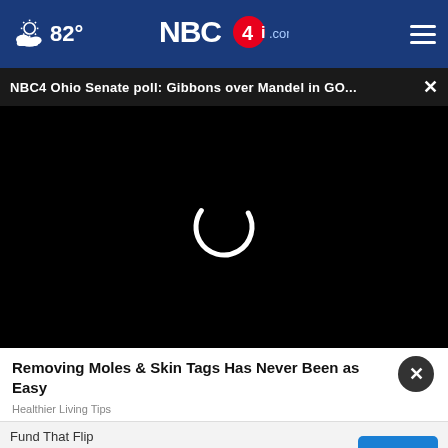82° NBC4i.com
NBC4 Ohio Senate poll: Gibbons over Mandel in GO...
[Figure (screenshot): Black video player area with a white loading spinner (partial circle) centered on screen]
Removing Moles & Skin Tags Has Never Been as Easy
Healthier Living Tips
[Figure (screenshot): Advertisement banner: Fund That Flip - Invest In Real Estate Online with OPEN button]